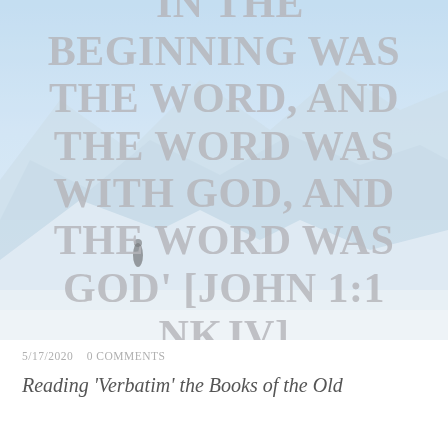[Figure (photo): A snowy mountain landscape with blue sky, with a large semi-transparent gray text overlay of the Bible verse John 1:1 NKJV. A tiny figure of a person can be seen on the snow slope.]
5/17/2020   0 COMMENTS
Reading 'Verbatim' the Books of the Old